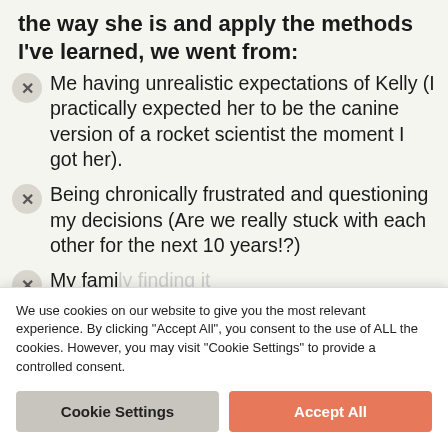the way she is and apply the methods I've learned, we went from:
Me having unrealistic expectations of Kelly (I practically expected her to be the canine version of a rocket scientist the moment I got her).
Being chronically frustrated and questioning my decisions (Are we really stuck with each other for the next 10 years!?)
My family finding it exhausting… dog.
Facing d… myself f… my dog out.
We use cookies on our website to give you the most relevant experience. By clicking "Accept All", you consent to the use of ALL the cookies. However, you may visit "Cookie Settings" to provide a controlled consent.